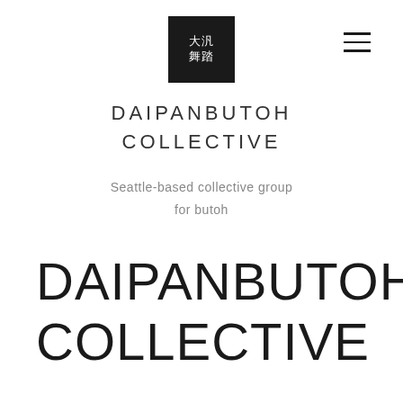[Figure (logo): Square black logo box with Japanese kanji characters 大汎舞踏 arranged in a 2x2 grid in white text on black background]
DAIPANBUTOH COLLECTIVE
Seattle-based collective group for butoh
DAIPANBUTOH COLLECTIVE